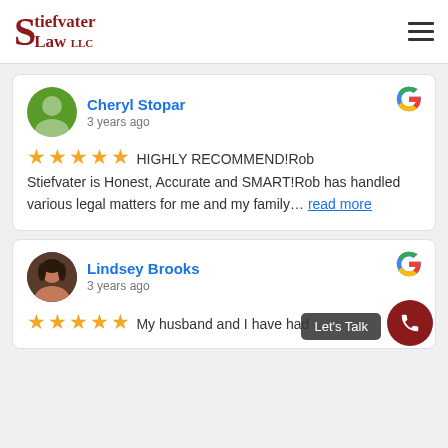[Figure (logo): Stiefvater Law LLC logo with stylized S and serif text]
Cheryl Stopar
3 years ago
★★★★★ HIGHLY RECOMMEND!Rob Stiefvater is Honest, Accurate and SMART!Rob has handled various legal matters for me and my family... read more
Lindsey Brooks
3 years ago
★★★★★ My husband and I have had
Let's Talk